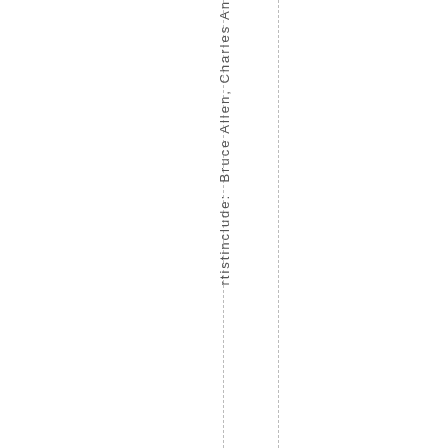rtistinclude: Bruce Allen, Charles An